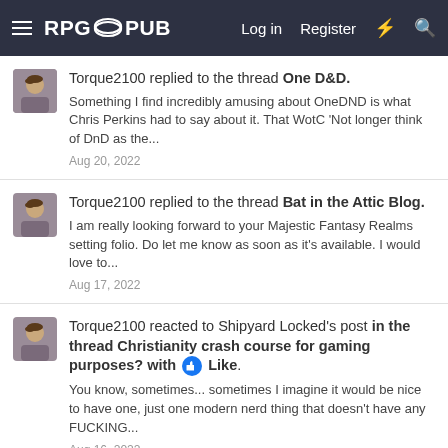RPG PUB — Log in  Register
Torque2100 replied to the thread One D&D.
Something I find incredibly amusing about OneDND is what Chris Perkins had to say about it. That WotC 'Not longer think of DnD as the...
Aug 20, 2022
Torque2100 replied to the thread Bat in the Attic Blog.
I am really looking forward to your Majestic Fantasy Realms setting folio. Do let me know as soon as it's available. I would love to...
Aug 17, 2022
Torque2100 reacted to Shipyard Locked's post in the thread Christianity crash course for gaming purposes? with Like.
You know, sometimes... sometimes I imagine it would be nice to have one, just one modern nerd thing that doesn't have any FUCKING...
Aug 16, 2022